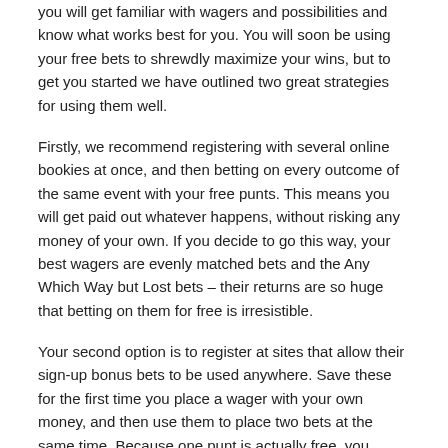you will get familiar with wagers and possibilities and know what works best for you. You will soon be using your free bets to shrewdly maximize your wins, but to get you started we have outlined two great strategies for using them well.
Firstly, we recommend registering with several online bookies at once, and then betting on every outcome of the same event with your free punts. This means you will get paid out whatever happens, without risking any money of your own. If you decide to go this way, your best wagers are evenly matched bets and the Any Which Way but Lost bets – their returns are so huge that betting on them for free is irresistible.
Your second option is to register at sites that allow their sign-up bonus bets to be used anywhere. Save these for the first time you place a wager with your own money, and then use them to place two bets at the same time. Because one punt is actually free, you reduce your risk and increase your chance of profits.
Start Taking Benefits with Free Bets
By putting your free bets to the best possible use, you can really take